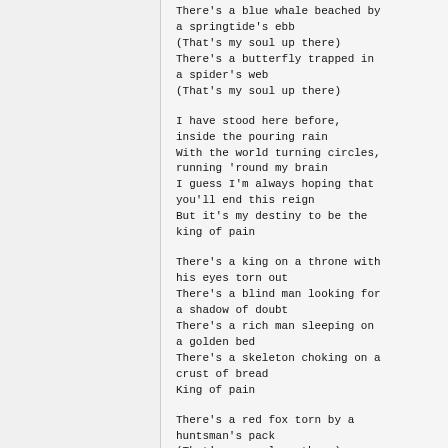There's a blue whale beached by a springtide's ebb
(That's my soul up there)
There's a butterfly trapped in a spider's web
(That's my soul up there)
I have stood here before, inside the pouring rain
With the world turning circles, running 'round my brain
I guess I'm always hoping that you'll end this reign
But it's my destiny to be the king of pain
There's a king on a throne with his eyes torn out
There's a blind man looking for a shadow of doubt
There's a rich man sleeping on a golden bed
There's a skeleton choking on a crust of bread
King of pain
There's a red fox torn by a huntsman's pack
(That's my soul up there)
There's a black-winged gull with a broken back
(That's my soul up there)